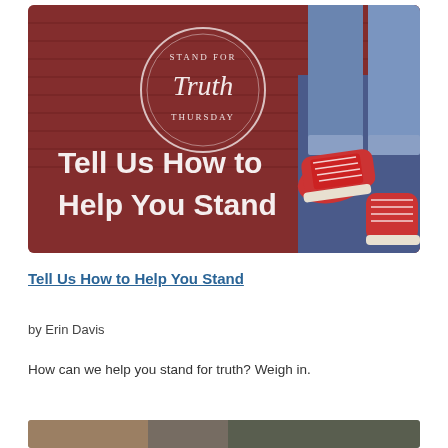[Figure (photo): Photo of person's legs wearing red Converse sneakers and jeans, hanging/standing against a brick wall background with text 'Stand for Truth Thursday' in a circular logo and 'Tell Us How to Help You Stand' in large white text on a dark red/maroon background.]
Tell Us How to Help You Stand
by Erin Davis
How can we help you stand for truth? Weigh in.
[Figure (photo): Partial bottom image, cropped, showing beginning of another article or photo.]